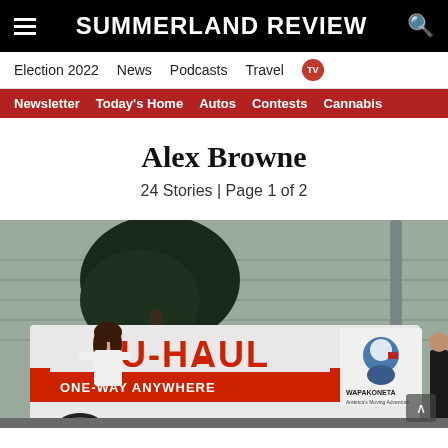SUMMERLAND REVIEW
Election 2022  News  Podcasts  Travel  TV
Newsletter  Today's Home  Autos  Contests  Cannabis
Alex Browne
24 Stories | Page 1 of 2
[Figure (photo): Woman in white t-shirt standing in front of a U-Haul truck with 'ONE-WAY ANYWHERE' text and Wapakoneta branding. Building and tree visible in background. Another person visible on the right edge.]